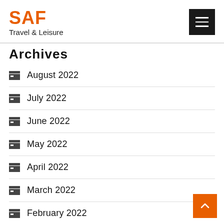SAF Travel & Leisure
Archives
August 2022
July 2022
June 2022
May 2022
April 2022
March 2022
February 2022